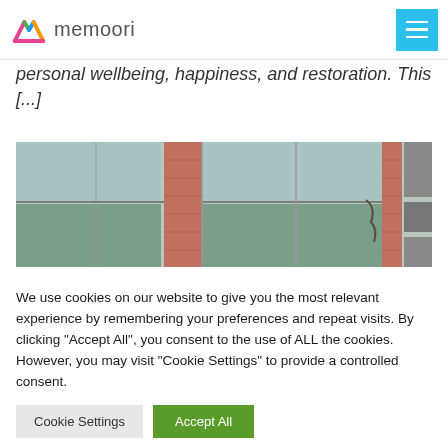memoori
personal wellbeing, happiness, and restoration. This [...]
[Figure (photo): Close-up photograph of a building facade showing glass window panels with light blue/green tint alternating with sections of red brick wall]
We use cookies on our website to give you the most relevant experience by remembering your preferences and repeat visits. By clicking "Accept All", you consent to the use of ALL the cookies. However, you may visit "Cookie Settings" to provide a controlled consent.
Cookie Settings  Accept All